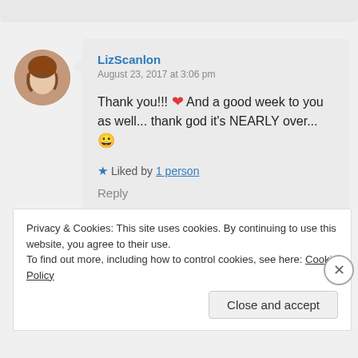LizScanlon
August 23, 2017 at 3:06 pm
Thank you!!! ❤ And a good week to you as well... thank god it's NEARLY over... 😀
★ Liked by 1 person
Reply
Privacy & Cookies: This site uses cookies. By continuing to use this website, you agree to their use.
To find out more, including how to control cookies, see here: Cookie Policy
Close and accept